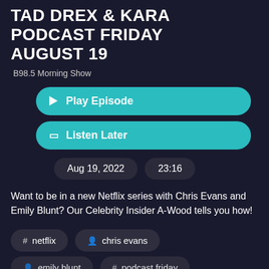TAD DREX & KARA PODCAST FRIDAY AUGUST 19
B98.5 Morning Show
▶ Play Episode
🔖 Listen Later
Aug 19, 2022   23:16
Want to be in a new Netflix series with Chris Evans and Emily Blunt? Our Celebrity Insider A-Wood tells you how!
# netflix
👤 chris evans
👤 emily blunt
# podcast friday